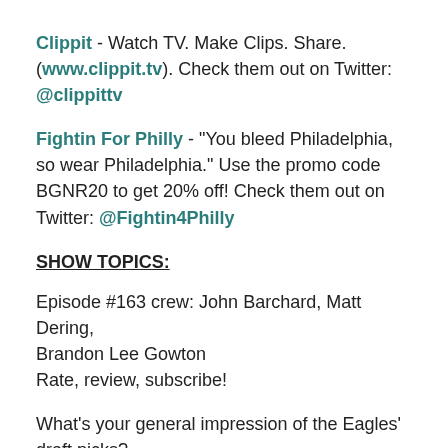Clippit - Watch TV. Make Clips. Share. (www.clippit.tv). Check them out on Twitter: @clippittv
Fightin For Philly - "You bleed Philadelphia, so wear Philadelphia." Use the promo code BGNR20 to get 20% off! Check them out on Twitter: @Fightin4Philly
SHOW TOPICS:
Episode #163 crew: John Barchard, Matt Dering, Brandon Lee Gowton
Rate, review, subscribe!
What's your general impression of the Eagles' draft picks?